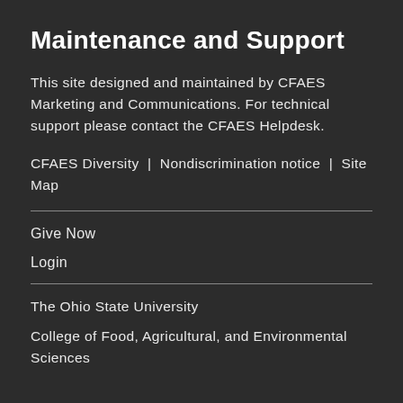Maintenance and Support
This site designed and maintained by CFAES Marketing and Communications. For technical support please contact the CFAES Helpdesk.
CFAES Diversity | Nondiscrimination notice | Site Map
Give Now
Login
The Ohio State University
College of Food, Agricultural, and Environmental Sciences